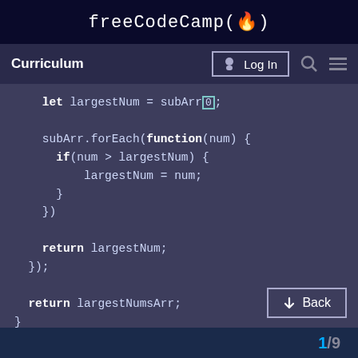freeCodeCamp(🔥)
Curriculum   Log In
[Figure (screenshot): Code editor screenshot showing JavaScript code with let largestNum = subArr[0]; subArr.forEach(function(num) { if(num > largestNum) { largestNum = num; } }) return largestNum; }); return largestNumsArr; }]
1/9